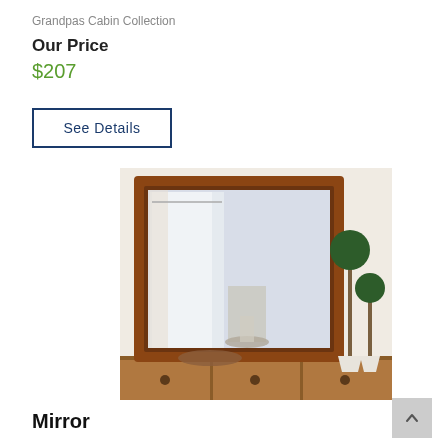Grandpas Cabin Collection
Our Price
$207
See Details
[Figure (photo): A wood-framed square mirror sitting on a dresser. The mirror reflects a lamp and the room. Next to the mirror are two small topiary plants in white pots. The dresser has three visible drawers with round knobs.]
Mirror